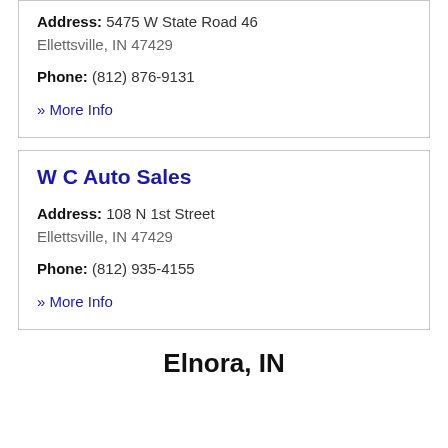Address: 5475 W State Road 46
Ellettsville, IN 47429
Phone: (812) 876-9131
» More Info
W C Auto Sales
Address: 108 N 1st Street
Ellettsville, IN 47429
Phone: (812) 935-4155
» More Info
Elnora, IN